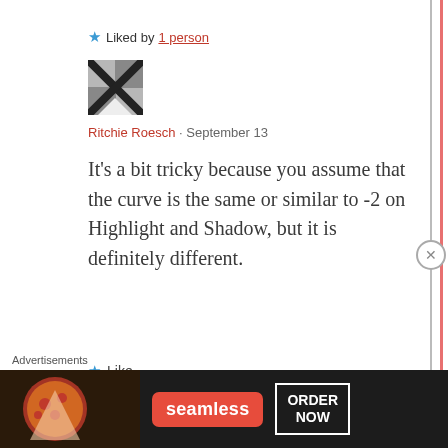★ Liked by 1 person
[Figure (photo): Avatar image of Ritchie Roesch — grayscale photo with X shape]
Ritchie Roesch · September 13
It's a bit tricky because you assume that the curve is the same or similar to -2 on Highlight and Shadow, but it is definitely different.
★ Like
Advertisements
[Figure (screenshot): Seamless food delivery advertisement banner with pizza image, seamless logo and ORDER NOW button]